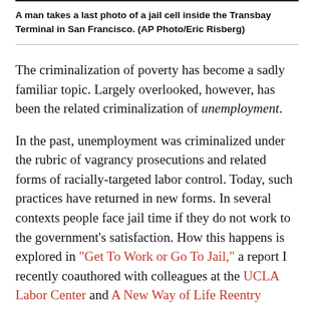A man takes a last photo of a jail cell inside the Transbay Terminal in San Francisco. (AP Photo/Eric Risberg)
The criminalization of poverty has become a sadly familiar topic. Largely overlooked, however, has been the related criminalization of unemployment.
In the past, unemployment was criminalized under the rubric of vagrancy prosecutions and related forms of racially-targeted labor control. Today, such practices have returned in new forms. In several contexts people face jail time if they do not work to the government’s satisfaction. How this happens is explored in “Get To Work or Go To Jail,” a report I recently coauthored with colleagues at the UCLA Labor Center and A New Way of Life Reentry